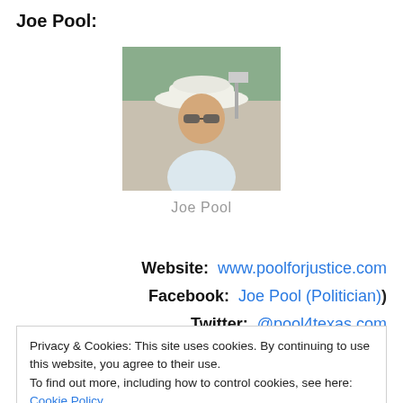Joe Pool:
[Figure (photo): Profile photo of Joe Pool, a man wearing a white cowboy hat and sunglasses, dressed in a light-colored shirt, outdoors with trees in background.]
Joe Pool
Website:  www.poolforjustice.com
Facebook:  Joe Pool (Politician)
Twitter:  @pool4texas.com
Privacy & Cookies: This site uses cookies. By continuing to use this website, you agree to their use.
To find out more, including how to control cookies, see here: Cookie Policy
pour money into judicial campaigns out the other side